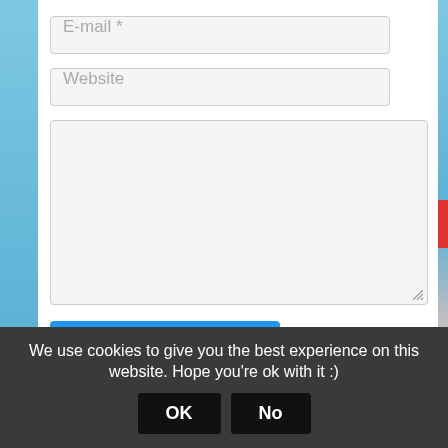[Figure (screenshot): Web comment form with E-mail and Website input fields, a large textarea, a Submit Comment button, and a checkbox for email notifications. A cookie consent banner appears at the bottom.]
E-mail *
Website
Submit Comment
Notify me of follow up comments via e-mail
We use cookies to give you the best experience on this website. Hope you're ok with it :)
OK
No